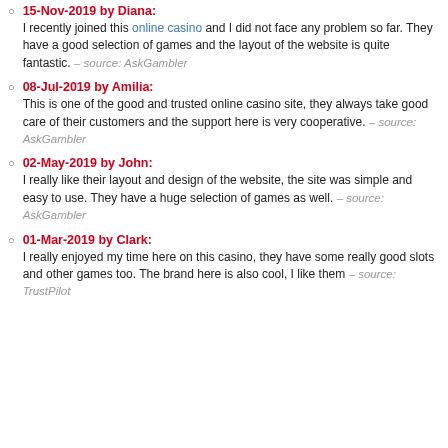15-Nov-2019 by Diana: I recently joined this online casino and I did not face any problem so far. They have a good selection of games and the layout of the website is quite fantastic. – source: AskGambler
08-Jul-2019 by Amilia: This is one of the good and trusted online casino site, they always take good care of their customers and the support here is very cooperative. – source: AskGambler
02-May-2019 by John: I really like their layout and design of the website, the site was simple and easy to use. They have a huge selection of games as well. – source: AskGambler
01-Mar-2019 by Clark: I really enjoyed my time here on this casino, they have some really good slots and other games too. The brand here is also cool, I like them – source: TrustPilot